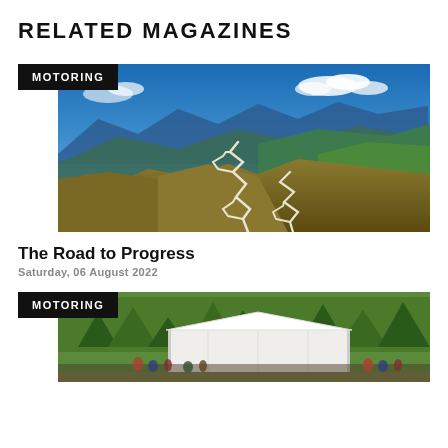RELATED MAGAZINES
MOTORING
[Figure (photo): Aerial view of a winding mountain road with switchbacks, blue sky and mountains in the background]
The Road to Progress
Saturday, 06 August 2022
MOTORING
[Figure (photo): Outdoor event with a large white marquee tent and trees, crowd of people visible]